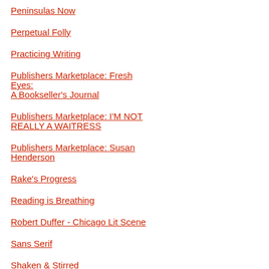Peninsulas Now
Perpetual Folly
Practicing Writing
Publishers Marketplace: Fresh Eyes: A Bookseller's Journal
Publishers Marketplace: I'M NOT REALLY A WAITRESS
Publishers Marketplace: Susan Henderson
Rake's Progress
Reading is Breathing
Robert Duffer - Chicago Lit Scene
Sans Serif
Shaken & Stirred
Shanna Compton's blog
Short Story Craft
Slushpile
Starcher-Blog
Steven McDermott